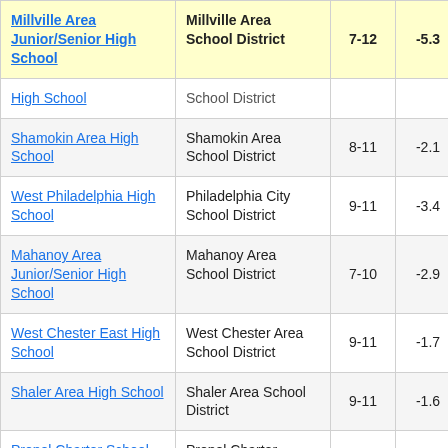| School | District | Grades | Change |  |
| --- | --- | --- | --- | --- |
| Millville Area Junior/Senior High School | Millville Area School District | 7-12 | -5.3 | 4 |
| [High School] | [School District] |  |  |  |
| Shamokin Area High School | Shamokin Area School District | 8-11 | -2.1 |  |
| West Philadelphia High School | Philadelphia City School District | 9-11 | -3.4 |  |
| Mahanoy Area Junior/Senior High School | Mahanoy Area School District | 7-10 | -2.9 |  |
| West Chester East High School | West Chester Area School District | 9-11 | -1.7 |  |
| Shaler Area High School | Shaler Area School District | 9-11 | -1.6 |  |
| Propel Charter School-Mc... | Propel Charter School- | 3-10 | -3.4 |  |